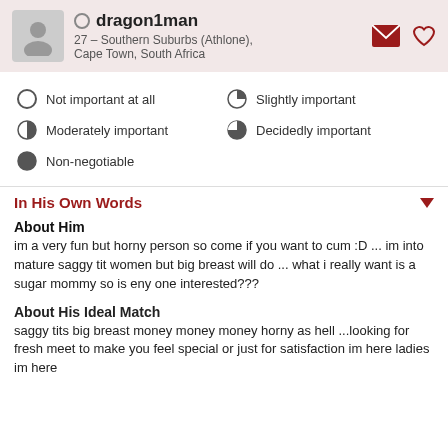dragon1man
27 – Southern Suburbs (Athlone), Cape Town, South Africa
Not important at all
Slightly important
Moderately important
Decidedly important
Non-negotiable
In His Own Words
About Him
im a very fun but horny person so come if you want to cum :D ... im into mature saggy tit women but big breast will do ... what i really want is a sugar mommy so is eny one interested???
About His Ideal Match
saggy tits big breast money money money horny as hell ...looking for fresh meet to make you feel special or just for satisfaction im here ladies im here